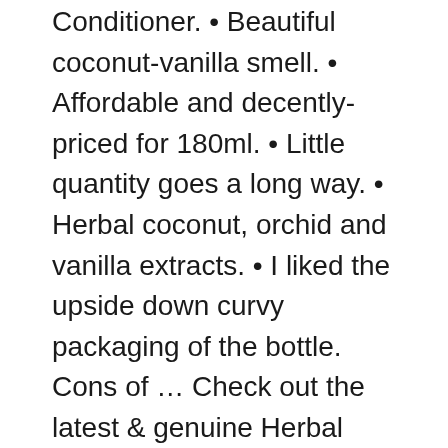Conditioner. • Beautiful coconut-vanilla smell. • Affordable and decently-priced for 180ml. • Little quantity goes a long way. • Herbal coconut, orchid and vanilla extracts. • I liked the upside down curvy packaging of the bottle. Cons of ... Check out the latest & genuine Herbal Essences Argan Oil of Morocco Conditioner review via Beauty Insider Singapore. Learn how to use, benefits, information, before and after using this product now!
6/10/2017 · Herbal Essences bio:renew Argan Oil of Morocco Conditioner is a conditioner formulated to repair damaged hair. It is enriched with histidine, sea kelp and aloe to help remove the build up of free radicals and revive dull, lifeless hair after every wash. Herbal Essences